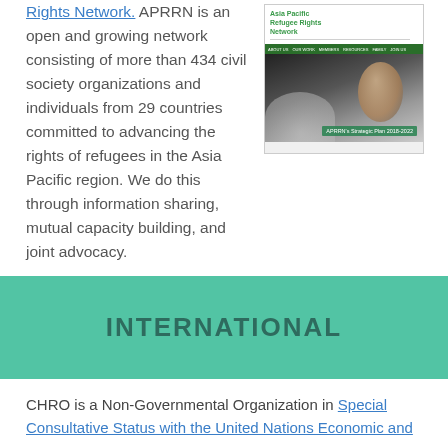Rights Network. APRRN is an open and growing network consisting of more than 434 civil society organizations and individuals from 29 countries committed to advancing the rights of refugees in the Asia Pacific region. We do this through information sharing, mutual capacity building, and joint advocacy.
[Figure (screenshot): Screenshot of the Asia Pacific Refugee Rights Network website showing a header with green navigation bar and a black-and-white photo with text 'APRRN's Strategic Plan 2018-2022']
INTERNATIONAL
CHRO is a Non-Governmental Organization in Special Consultative Status with the United Nations Economic and